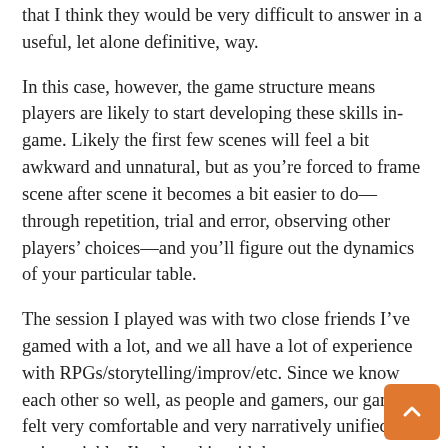that I think they would be very difficult to answer in a useful, let alone definitive, way.
In this case, however, the game structure means players are likely to start developing these skills in-game. Likely the first few scenes will feel a bit awkward and unnatural, but as you’re forced to frame scene after scene it becomes a bit easier to do—through repetition, trial and error, observing other players’ choices—and you’ll figure out the dynamics of your particular table.
The session I played was with two close friends I’ve gamed with a lot, and we all have a lot of experience with RPGs/storytelling/improv/etc. Since we know each other so well, as people and gamers, our game felt very comfortable and very narratively unified quite quickly. I’ve heard it said that any game, no matter how well or poorly designed, can be enjoyable with the right people at the table, and in my experience